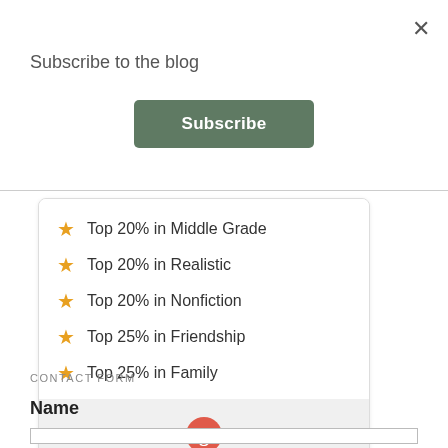×
Subscribe to the blog
Subscribe
Top 20% in Middle Grade
Top 20% in Realistic
Top 20% in Nonfiction
Top 25% in Friendship
Top 25% in Family
[Figure (logo): Goodreads circular logo icon in red/coral color]
CONTACT FORM
Name